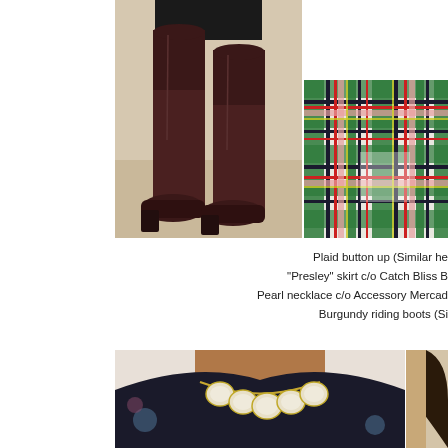[Figure (photo): Close-up photo of burgundy/dark brown leather riding boots worn over a black skirt, standing on a light carpet floor]
[Figure (photo): Close-up photo of plaid fabric with green, white, red, pink, yellow, and black tartan pattern]
Plaid button up (Similar he
"Presley" skirt c/o Catch Bliss B
Pearl necklace c/o Accessory Mercad
Burgundy riding boots (Si
[Figure (photo): Photo of a person wearing a pearl/crystal statement necklace over a dark-collared floral top, cropped at neck/chest area]
[Figure (photo): Partial right side of a person's head/hair, cropped]